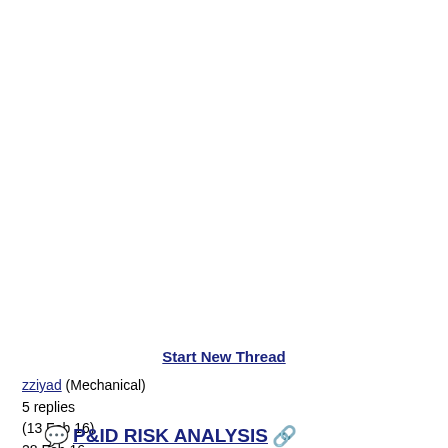Start New Thread
zziyad (Mechanical)
5 replies
(13 Feb 16)
28 Feb 16
P&ID RISK ANALYSIS